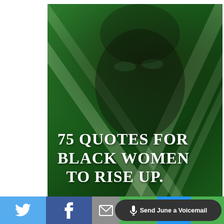[Figure (photo): A Black woman's face partially obscured by large green tropical leaves, with a deep green color overlay, used as a decorative background image]
75 QUOTES FOR BLACK WOMEN TO RISE UP.
[Figure (infographic): Social sharing bar at bottom of page with Twitter (blue bird icon), Facebook (f icon), email (envelope icon), and a dark rounded 'Send June a Voicemail' button with microphone icon, on a multi-color background of green, blue, and gray segments]